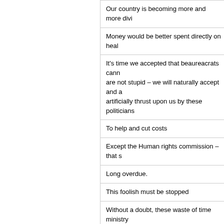Our country is becoming more and more divi…
Money would be better spent directly on heal…
It's time we accepted that beaureacrats cann… are not stupid – we will naturally accept and a… artificially thrust upon us by these politicians…
To help and cut costs
Except the Human rights commission – that s…
Long overdue.
This foolish must be stopped
Without a doubt, these waste of time ministry… Also get rid of the racial Waitangi Tribunal. Al… race or ethnicity.
absolutely, SO divisive.
These six agencies should be just the start. T… many of the excessive number of state secto… contributing to the country instead of holding… disenchanted now and looking elsewhere fo… country back on track.